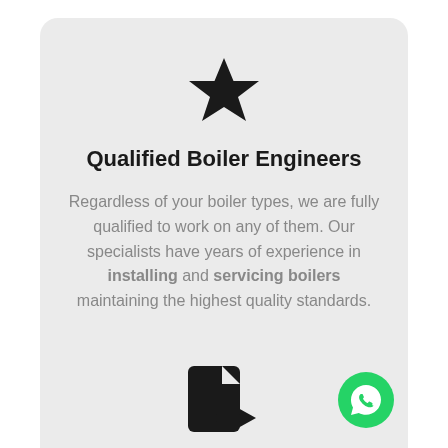[Figure (illustration): Black filled star icon centered at top of card]
Qualified Boiler Engineers
Regardless of your boiler types, we are fully qualified to work on any of them. Our specialists have years of experience in installing and servicing boilers maintaining the highest quality standards.
[Figure (illustration): Partial view of a document/file icon at bottom of second card, and a green WhatsApp button in bottom right corner]